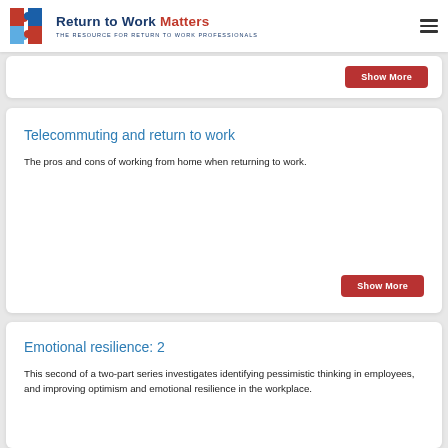Return to Work Matters — THE RESOURCE FOR RETURN TO WORK PROFESSIONALS
[Figure (other): Partial article card with Show More button]
Telecommuting and return to work
The pros and cons of working from home when returning to work.
Emotional resilience: 2
This second of a two-part series investigates identifying pessimistic thinking in employees, and improving optimism and emotional resilience in the workplace.